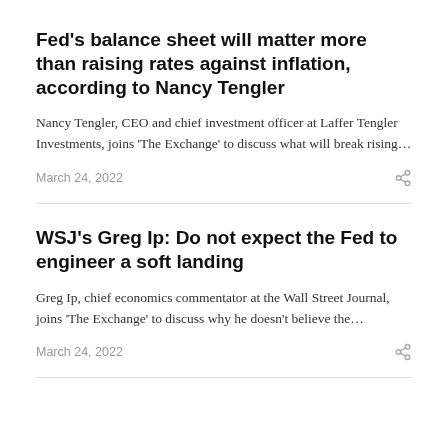Fed's balance sheet will matter more than raising rates against inflation, according to Nancy Tengler
Nancy Tengler, CEO and chief investment officer at Laffer Tengler Investments, joins ‘The Exchange’ to discuss what will break rising…
March 24, 2022
WSJ’s Greg Ip: Do not expect the Fed to engineer a soft landing
Greg Ip, chief economics commentator at the Wall Street Journal, joins ‘The Exchange’ to discuss why he doesn’t believe the…
March 24, 2022